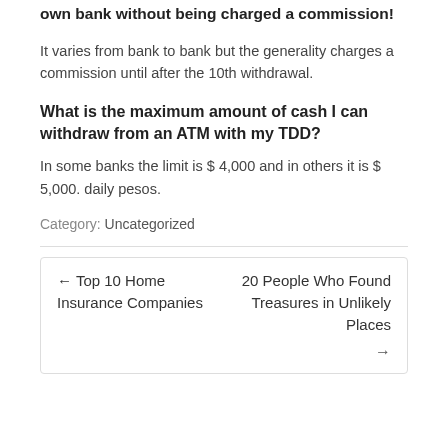own bank without being charged a commission!
It varies from bank to bank but the generality charges a commission until after the 10th withdrawal.
What is the maximum amount of cash I can withdraw from an ATM with my TDD?
In some banks the limit is $ 4,000 and in others it is $ 5,000. daily pesos.
Category: Uncategorized
← Top 10 Home Insurance Companies
20 People Who Found Treasures in Unlikely Places →